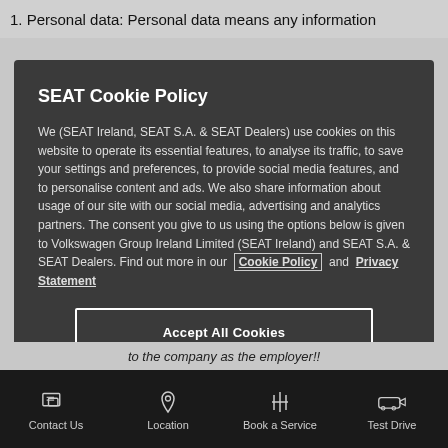1. Personal data: Personal data means any information
SEAT Cookie Policy
We (SEAT Ireland, SEAT S.A. & SEAT Dealers) use cookies on this website to operate its essential features, to analyse its traffic, to save your settings and preferences, to provide social media features, and to personalise content and ads. We also share information about usage of our site with our social media, advertising and analytics partners. The consent you give to us using the options below is given to Volkswagen Group Ireland Limited (SEAT Ireland) and SEAT S.A. & SEAT Dealers. Find out more in our Cookie Policy and Privacy Statement
Accept All Cookies
Manage Cookies
to the company as the employer!!
Contact Us
Location
Book a Service
Test Drive